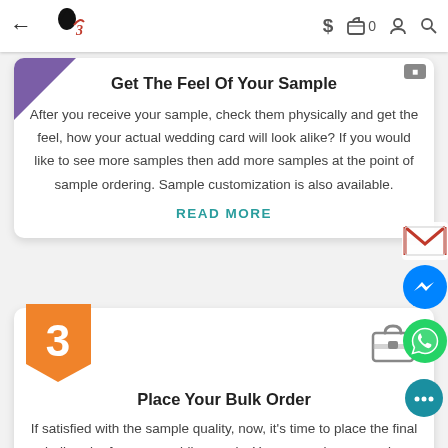Navigation bar with back arrow, logo, dollar sign, bag icon 0, user icon, search icon
Get The Feel Of Your Sample
After you receive your sample, check them physically and get the feel, how your actual wedding card will look alike? If you would like to see more samples then add more samples at the point of sample ordering. Sample customization is also available.
READ MORE
Place Your Bulk Order
If satisfied with the sample quality, now, it's time to place the final bulk order for your wedding cards. You can make your order